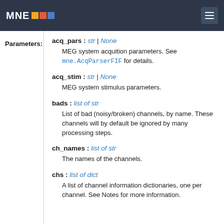MNE [logo]
Parameters:
acq_pars : str | None — MEG system acquition parameters. See mne.AcqParserFIF for details.
acq_stim : str | None — MEG system stimulus parameters.
bads : list of str — List of bad (noisy/broken) channels, by name. These channels will by default be ignored by many processing steps.
ch_names : list of str — The names of the channels.
chs : list of dict — A list of channel information dictionaries, one per channel. See Notes for more information.